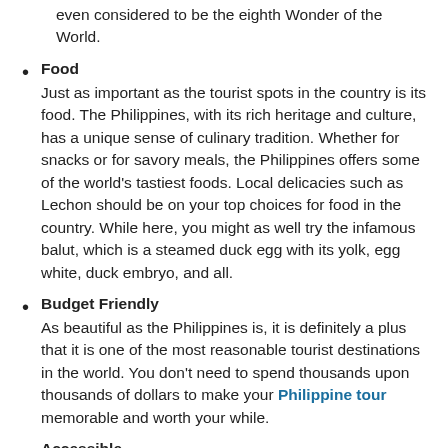even considered to be the eighth Wonder of the World.
Food
Just as important as the tourist spots in the country is its food. The Philippines, with its rich heritage and culture, has a unique sense of culinary tradition. Whether for snacks or for savory meals, the Philippines offers some of the world's tastiest foods. Local delicacies such as Lechon should be on your top choices for food in the country. While here, you might as well try the infamous balut, which is a steamed duck egg with its yolk, egg white, duck embryo, and all.
Budget Friendly
As beautiful as the Philippines is, it is definitely a plus that it is one of the most reasonable tourist destinations in the world. You don't need to spend thousands upon thousands of dollars to make your Philippine tour memorable and worth your while.
Accessible
Due to constant development and innovations, the Philippines has become more accessible to countries that want to visit the country. Visa requirements are not that strict, making your vacation a breeze.